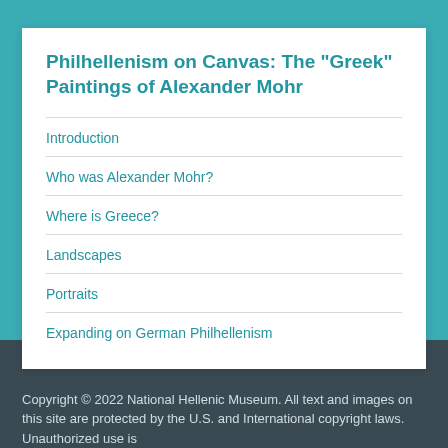Philhellenism on Canvas: The "Greek" Paintings of Alexander Mohr
Introduction
Who was Alexander Mohr?
Where is Greece?
Landscapes
Portraits
Expanding on German Philhellenism
Copyright © 2022 National Hellenic Museum. All text and images on this site are protected by the U.S. and International copyright laws. Unauthorized use is